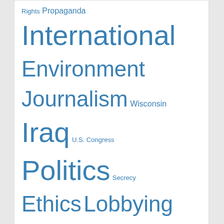[Figure (infographic): Tag/word cloud with topics in varying font sizes in blue: Rights, Propaganda, International, Environment, Journalism, Wisconsin, Iraq, U.S. Congress, Politics, Secrecy, Ethics, Lobbying, Corporations, Activism, Economy, Health, Democracy, Climate Change, War / Peace, Marketing, Right Wing, ALEC Exposed. Followed by a red 'MORE' link.]